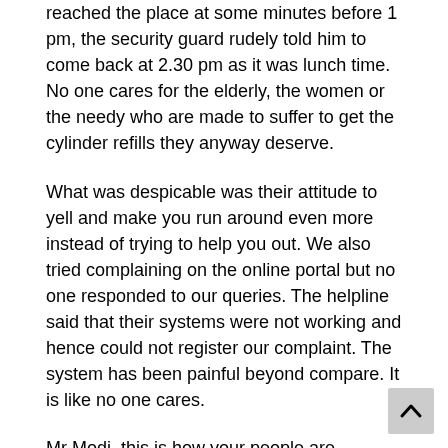reached the place at some minutes before 1 pm, the security guard rudely told him to come back at 2.30 pm as it was lunch time. No one cares for the elderly, the women or the needy who are made to suffer to get the cylinder refills they anyway deserve.
What was despicable was their attitude to yell and make you run around even more instead of trying to help you out. We also tried complaining on the online portal but no one responded to our queries. The helpline said that their systems were not working and hence could not register our complaint. The system has been painful beyond compare. It is like no one cares.
Mr Modi, this is how your people are implementing the government schemes of subsidy transfers directly to the bank. If well-read people and people who reasona know their rights are treated like dogs, we can only